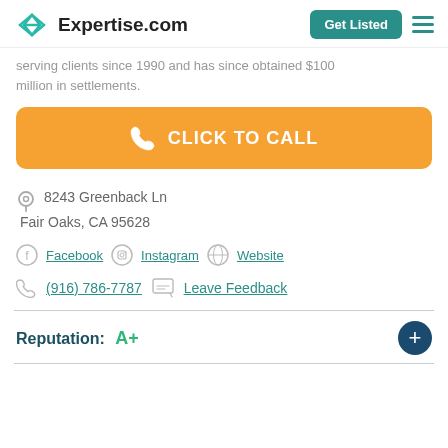Expertise.com | Get Listed
serving clients since 1990 and has since obtained $100 million in settlements.
[Figure (other): Orange 'CLICK TO CALL' button with phone icon]
8243 Greenback Ln Fair Oaks, CA 95628
Facebook | Instagram | Website
(916) 786-7787 | Leave Feedback
Reputation: A+